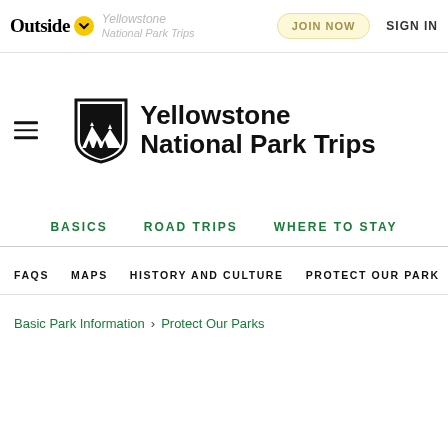Outside | Yellowstone National Park Trips | JOIN NOW | SIGN IN
[Figure (logo): Shield-shaped logo with mountain silhouette and Yellowstone National Park Trips wordmark]
BASICS   ROAD TRIPS   WHERE TO STAY
FAQS   MAPS   HISTORY AND CULTURE   PROTECT OUR PARK
Basic Park Information > Protect Our Parks